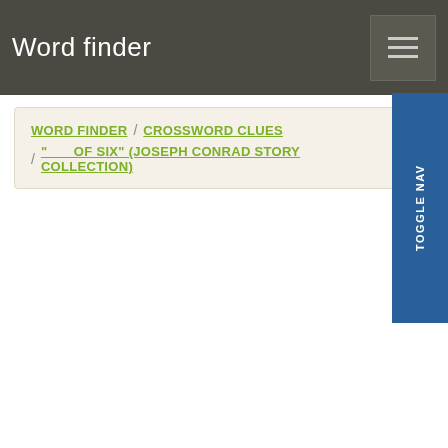Word finder
WORD FINDER / CROSSWORD CLUES / "___ OF SIX" (JOSEPH CONRAD STORY COLLECTION)